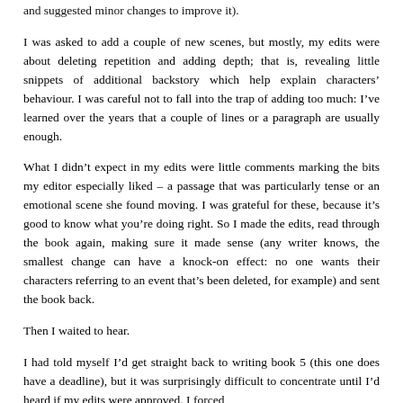and suggested minor changes to improve it).
I was asked to add a couple of new scenes, but mostly, my edits were about deleting repetition and adding depth; that is, revealing little snippets of additional backstory which help explain characters' behaviour. I was careful not to fall into the trap of adding too much: I've learned over the years that a couple of lines or a paragraph are usually enough.
What I didn't expect in my edits were little comments marking the bits my editor especially liked – a passage that was particularly tense or an emotional scene she found moving. I was grateful for these, because it's good to know what you're doing right. So I made the edits, read through the book again, making sure it made sense (any writer knows, the smallest change can have a knock-on effect: no one wants their characters referring to an event that's been deleted, for example) and sent the book back.
Then I waited to hear.
I had told myself I'd get straight back to writing book 5 (this one does have a deadline), but it was surprisingly difficult to concentrate until I'd heard if my edits were approved. I forced